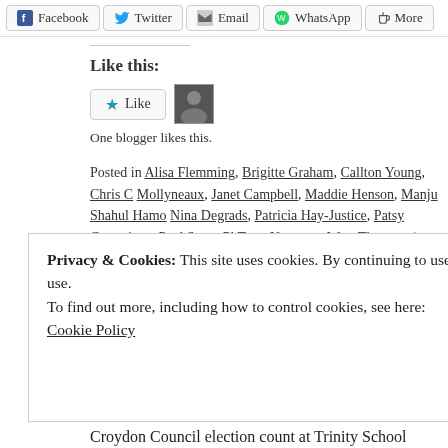[Figure (other): Social share buttons: Facebook, Twitter, Email, WhatsApp, More]
Like this:
[Figure (other): Like button widget with one blogger avatar]
One blogger likes this.
Posted in Alisa Flemming, Brigitte Graham, Callton Young, Chris C, Mollyneaux, Janet Campbell, Maddie Henson, Manju Shahul Hamo, Nina Degradas, Patricia Hay-Justice, Patsy Cummings, Paul Scott, Pl, Tony Newman, West Thornton | Tagged Brigitte Graham, Callton Y, Reshekaron, Conservative, Croydon, Croydon Council, David Evan, Keir Starmer, Labour, Liberal Democrats, Mike Bonello, Nina Deg, STUART KING, Tony Newman, Tory | 3 Comments
Privacy & Cookies: This site uses cookies. By continuing to use this website, you agree to their use. To find out more, including how to control cookies, see here: Cookie Policy
Close and accept
Croydon Council election count at Trinity School